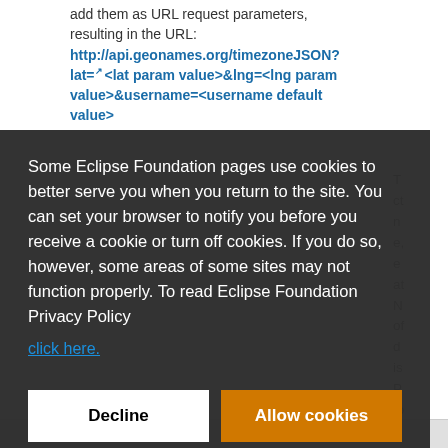add them as URL request parameters, resulting in the URL: http://api.geonames.org/timezoneJSON?lat=<lat param value>&lng=<lng param value>&username=<username default value>
Some Eclipse Foundation pages use cookies to better serve you when you return to the site. You can set your browser to notify you before you receive a cookie or turn off cookies. If you do so, however, some areas of some sites may not function properly. To read Eclipse Foundation Privacy Policy click here.
Decline
Allow cookies